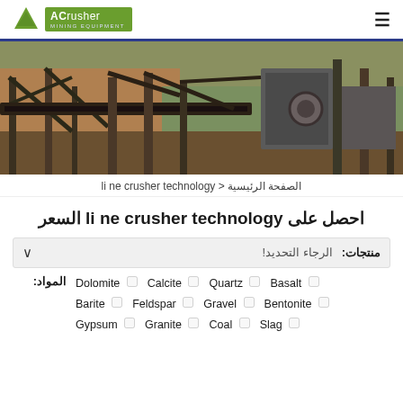ACrusher Mining Equipment
[Figure (photo): Industrial stone crusher / mining equipment facility with conveyor belts and machinery]
الصفحة الرئيسية < li ne crusher technology
احصل على li ne crusher technology السعر
منتجات: الرجاء التحديد!
المواد: Dolomite □ Calcite □ Quartz □ Basalt □ Barite □ Feldspar □ Gravel □ Bentonite □ Gypsum □ Granite □ Coal □ Slag □